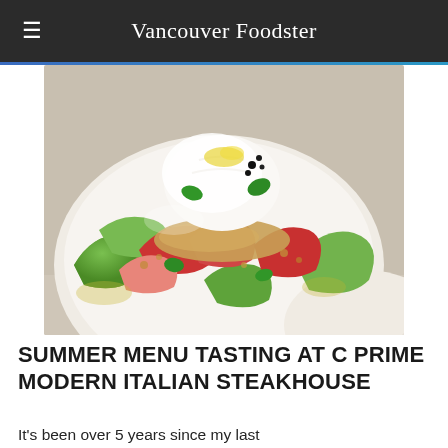Vancouver Foodster
[Figure (photo): A white ceramic plate with heirloom tomatoes (red and green), burrata cheese on top with yellow oil drizzle and black caviar dots, garnished with fresh basil leaves and golden breadcrumbs, on a white table surface with a small white side plate visible in the lower right corner.]
SUMMER MENU TASTING AT C PRIME MODERN ITALIAN STEAKHOUSE
It's been over 5 years since my last visit to...